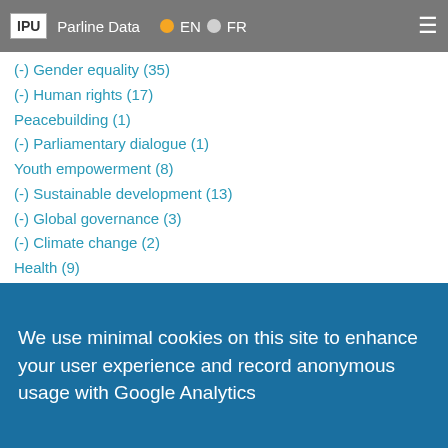IPU | Parline Data | EN | FR
(-) Gender equality (35)
(-) Human rights (17)
Peacebuilding (1)
(-) Parliamentary dialogue (1)
Youth empowerment (8)
(-) Sustainable development (13)
(-) Global governance (3)
(-) Climate change (2)
Health (9)
News
Events
Publications
About IPU (7)
We use minimal cookies on this site to enhance your user experience and record anonymous usage with Google Analytics